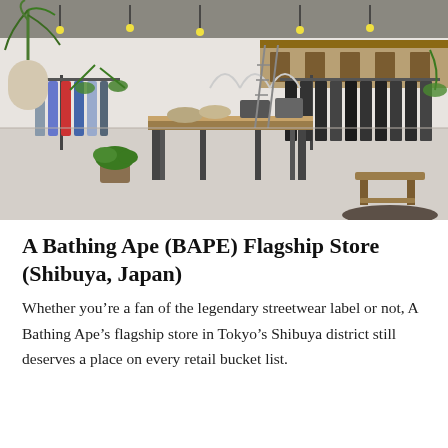[Figure (photo): Interior of A Bathing Ape (BAPE) flagship store in Shibuya, Japan. The store features industrial-style metal clothing racks lining both walls filled with garments, a central wooden display table with shoes and bags, wooden shelving units above displaying accessories, potted plants including a large yucca tree on the left, and a small wooden step stool on a dark rug in the foreground right. The space has a polished concrete floor and a high ceiling with exposed track lighting.]
A Bathing Ape (BAPE) Flagship Store (Shibuya, Japan)
Whether you’re a fan of the legendary streetwear label or not, A Bathing Ape’s flagship store in Tokyo’s Shibuya district still deserves a place on every retail bucket list.